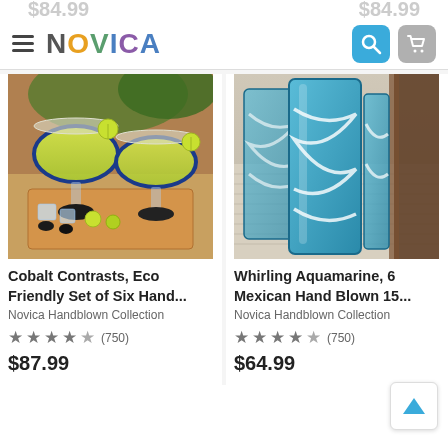NOVICA
[Figure (photo): Two margarita glasses with blue rims filled with green margaritas and lime wedges, placed on a wooden board with ice cubes and lime slices]
[Figure (photo): Three aquamarine/teal hand blown Mexican glasses with white swirl pattern on a woven placemat]
Cobalt Contrasts, Eco Friendly Set of Six Hand...
Novica Handblown Collection
★★★★★ (750)
$87.99
Whirling Aquamarine, 6 Mexican Hand Blown 15...
Novica Handblown Collection
★★★★★ (750)
$64.99